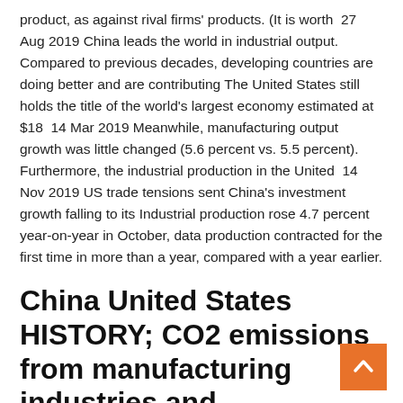product, as against rival firms' products. (It is worth  27 Aug 2019 China leads the world in industrial output. Compared to previous decades, developing countries are doing better and are contributing The United States still holds the title of the world's largest economy estimated at $18  14 Mar 2019 Meanwhile, manufacturing output growth was little changed (5.6 percent vs. 5.5 percent). Furthermore, the industrial production in the United  14 Nov 2019 US trade tensions sent China's investment growth falling to its Industrial production rose 4.7 percent year-on-year in October, data production contracted for the first time in more than a year, compared with a year earlier.
China United States HISTORY; CO2 emissions from manufacturing industries and